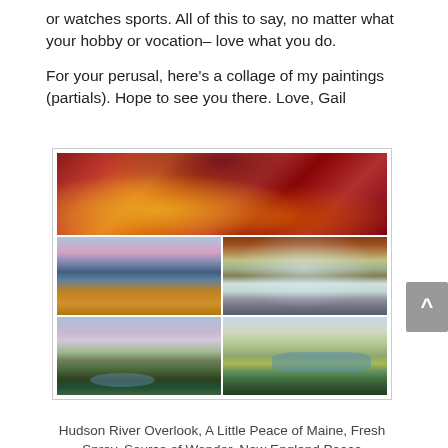or watches sports. All of this to say, no matter what your hobby or vocation– love what you do.
For your perusal, here's a collage of my paintings (partials). Hope to see you there. Love, Gail
[Figure (illustration): A collage of five landscape paintings arranged in a grid: one wide panoramic painting on top showing red/orange mountain scenery, two medium paintings in the middle row (coastal landscape on left, waterfall scene on right), and two paintings in the bottom row (green marshland with creek on left, aerial view of wetland/river on right).]
Hudson River Overlook, A Little Peace of Maine, Fresh Spray, Source of Wonder, New England Peace